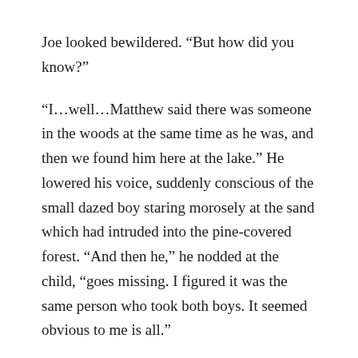Joe looked bewildered. “But how did you know?”
“I…well…Matthew said there was someone in the woods at the same time as he was, and then we found him here at the lake.” He lowered his voice, suddenly conscious of the small dazed boy staring morosely at the sand which had intruded into the pine-covered forest. “And then he,” he nodded at the child, “goes missing. I figured it was the same person who took both boys. It seemed obvious to me is all.”
Joe stared hard at his brother. Adam had been behaving strangely for the last couple of days, what with his sudden penchant for early morning rides, the unaccountable illnesses and now his seemingly uncanny